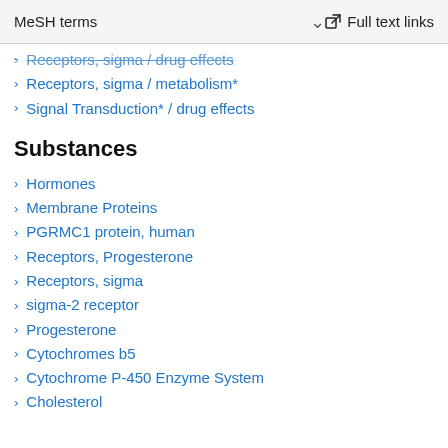MeSH terms   Full text links
Receptors, sigma / drug effects
Receptors, sigma / metabolism*
Signal Transduction* / drug effects
Substances
Hormones
Membrane Proteins
PGRMC1 protein, human
Receptors, Progesterone
Receptors, sigma
sigma-2 receptor
Progesterone
Cytochromes b5
Cytochrome P-450 Enzyme System
Cholesterol